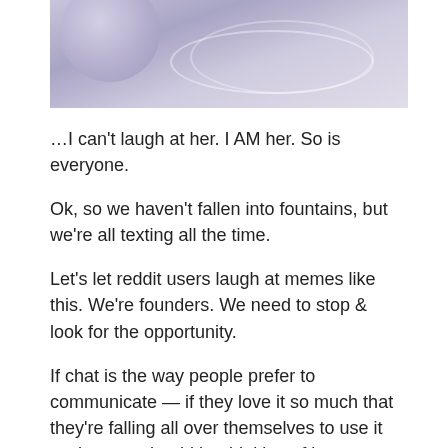[Figure (photo): Partial photo of someone who has fallen into a fountain, showing water and ripples with a bluish-purple tint, cropped at the top of the page]
…I can't laugh at her. I AM her. So is everyone.
Ok, so we haven't fallen into fountains, but we're all texting all the time.
Let's let reddit users laugh at memes like this. We're founders. We need to stop & look for the opportunity.
If chat is the way people prefer to communicate — if they love it so much that they're falling all over themselves to use it — then we should be thinking of how we can reach them there.
That's what Bot Academy is about.